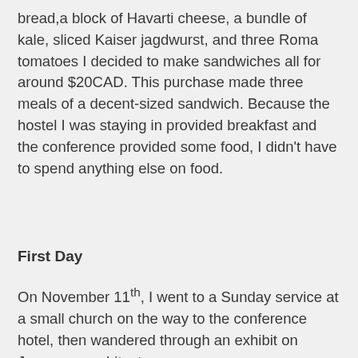a grocery store. After buying a large Italian loaf of bread, a block of Havarti cheese, a bundle of kale, sliced Kaiser jagdwurst, and three Roma tomatoes I decided to make sandwiches all for around $20CAD. This purchase made three meals of a decent-sized sandwich. Because the hostel I was staying in provided breakfast and the conference provided some food, I didn't have to spend anything else on food.
First Day
On November 11th, I went to a Sunday service at a small church on the way to the conference hotel, then wandered through an exhibit on Japanese architecture